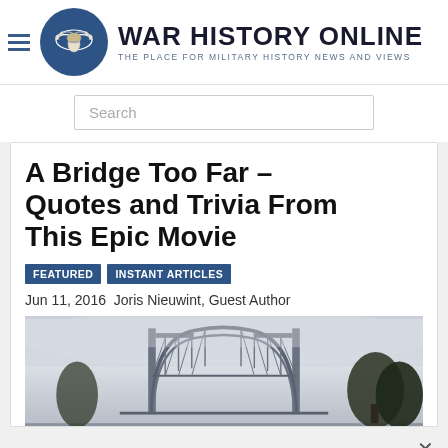WAR HISTORY ONLINE — THE PLACE FOR MILITARY HISTORY NEWS AND VIEWS
Search
A Bridge Too Far – Quotes and Trivia From This Epic Movie
FEATURED   INSTANT ARTICLES
Jun 11, 2016  Joris Nieuwint, Guest Author
[Figure (photo): Bridge photograph in misty/foggy conditions showing steel arch bridge structure from below]